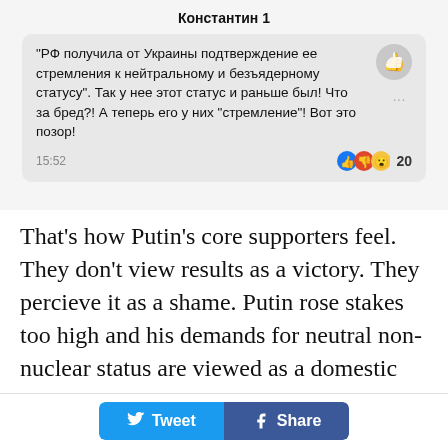[Figure (screenshot): Social media comment screenshot with username 'Константин 1' and Russian text comment with thumbs up icon, reactions showing 20, and timestamp 15:52]
That's how Putin's core supporters feel. They don't view results as a victory. They percieve it as a shame. Putin rose stakes too high and his demands for neutral non-nuclear status are viewed as a domestic policy tool. He needs to present a victory, but nobody believes he's won
Tweet  Share